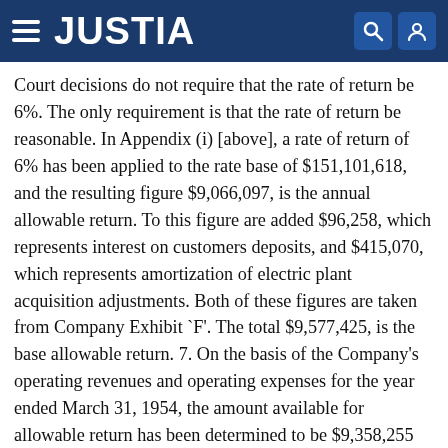JUSTIA
Court decisions do not require that the rate of return be 6%. The only requirement is that the rate of return be reasonable. In Appendix (i) [above], a rate of return of 6% has been applied to the rate base of $151,101,618, and the resulting figure $9,066,097, is the annual allowable return. To this figure are added $96,258, which represents interest on customers deposits, and $415,070, which represents amortization of electric plant acquisition adjustments. Both of these figures are taken from Company Exhibit `F'. The total $9,577,425, is the base allowable return. 7. On the basis of the Company's operating revenues and operating expenses for the year ended March 31, 1954, the amount available for allowable return has been determined to be $9,358,255 according to Company Exhibit `G'. To this, the amount of $196,482 should be added because of over-accrual of Federal Income taxes during the year ended March 31,